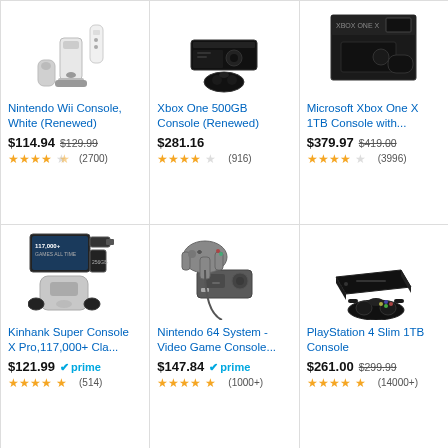[Figure (photo): Nintendo Wii Console white with controller and nunchuck]
Nintendo Wii Console, White (Renewed)
$114.94 $129.99 ★★★★☆ (2700)
[Figure (photo): Xbox One 500GB black console with controller]
Xbox One 500GB Console (Renewed)
$281.16 ★★★★☆ (916)
[Figure (photo): Microsoft Xbox One X 1TB Console in box]
Microsoft Xbox One X 1TB Console with...
$379.97 $419.00 ★★★★☆ (3996)
[Figure (photo): Kinhank Super Console X Pro retro gaming system with controllers]
Kinhank Super Console X Pro,117,000+ Cla...
$121.99 prime (514)
[Figure (photo): Nintendo 64 system with controller]
Nintendo 64 System - Video Game Console...
$147.84 prime (1000+)
[Figure (photo): PlayStation 4 Slim 1TB console with controller]
PlayStation 4 Slim 1TB Console
$261.00 $299.99 (14000+)